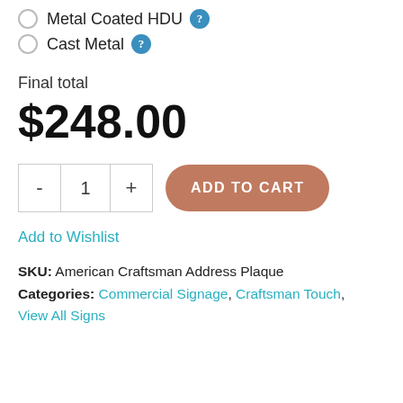Metal Coated HDU
Cast Metal
Final total
$248.00
[Figure (other): Quantity selector with minus, 1, plus buttons and Add to Cart button]
Add to Wishlist
SKU: American Craftsman Address Plaque
Categories: Commercial Signage, Craftsman Touch, View All Signs